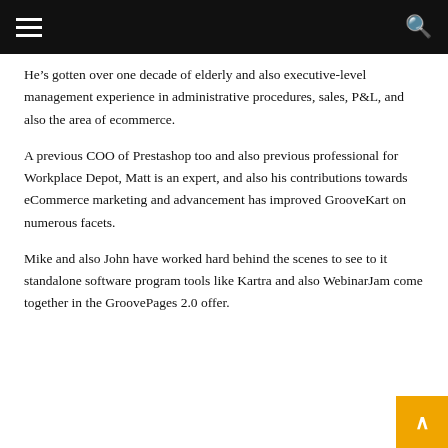He’s gotten over one decade of elderly and also executive-level management experience in administrative procedures, sales, P&L, and also the area of ecommerce.
A previous COO of Prestashop too and also previous professional for Workplace Depot, Matt is an expert, and also his contributions towards eCommerce marketing and advancement has improved GrooveKart on numerous facets.
Mike and also John have worked hard behind the scenes to see to it standalone software program tools like Kartra and also WebinarJam come together in the GroovePages 2.0 offer.